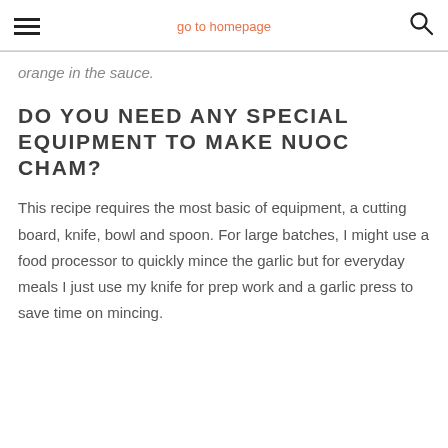go to homepage
orange in the sauce.
DO YOU NEED ANY SPECIAL EQUIPMENT TO MAKE NUOC CHAM?
This recipe requires the most basic of equipment, a cutting board, knife, bowl and spoon. For large batches, I might use a food processor to quickly mince the garlic but for everyday meals I just use my knife for prep work and a garlic press to save time on mincing.